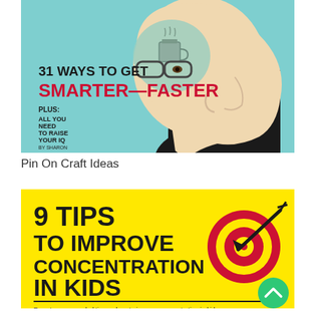[Figure (illustration): Magazine cover illustration showing a side-profile human head with a transparent brain section containing a coffee cup. Text reads '31 WAYS TO GET SMARTER—FASTER' with subtitle 'PLUS: ALL YOU NEED TO RAISE YOUR IQ BY SHARON BEGLEY'. Teal/blue background.]
Pin On Craft Ideas
[Figure (infographic): Yellow background infographic with bold black text reading '9 TIPS TO IMPROVE CONCENTRATION IN KIDS' with a red and yellow bullseye/target icon with an arrow. Bottom text partially visible: 'Expert recommended tips on how to improve concentration in kids'. Green circular scroll-to-top button in bottom right corner.]